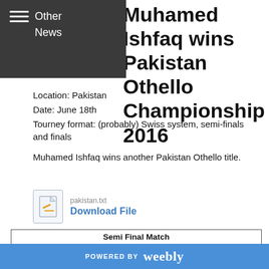Other News
Muhamed Ishfaq wins Pakistan Othello Championship 2016
Location: Pakistan
Date: June 18th
Tourney format: (probably) Swiss system, semi-finals and finals
Muhamed Ishfaq wins another Pakistan Othello title.
[Figure (other): Download file icon with pencil symbol]
pakistan.txt
Download File
| Semi Final Match |
| --- |
| Pic number  003 | Name | Points | Name | Points |
| Left Player | Waqas Ahmad | 0 | Muhammad Ishfaq | 3 |
| Left Player | Kalsoom | 2 | Atooba | 1 |
| Final Match |  |  |  |  |
| Pic number  004 | Name | Points | Name | Points |
POWERED BY weebly